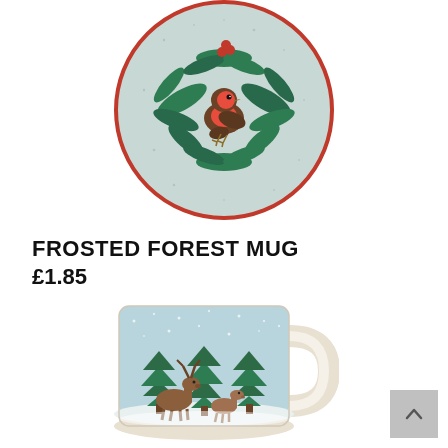[Figure (photo): A decorative ceramic plate with a light blue/grey speckled background, featuring a robin bird perched on a green holly and leaf wreath, with a red rim border.]
FROSTED FOREST MUG
£1.85
[Figure (photo): A ceramic mug with a frosted forest winter scene showing reindeer and deer standing among tall green Christmas trees in a snowy landscape. The mug is white with a cream base and handle.]